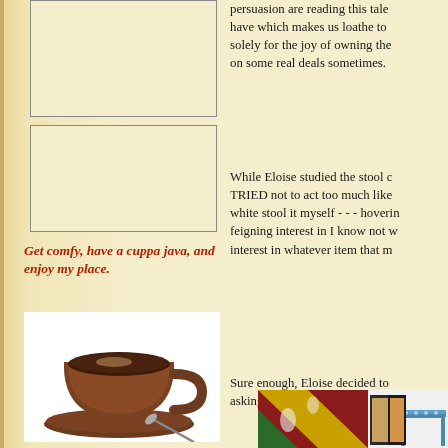[Figure (photo): Empty rectangular image placeholder box top left]
[Figure (photo): Empty rectangular image placeholder box middle left]
Get comfy, have a cuppa java, and enjoy my place.
[Figure (photo): Photo of a brown ceramic coffee cup and saucer with spoon]
[Figure (photo): Photo of a latte with heart-shaped foam art]
persuasion are reading this tale... have which makes us loathe to... solely for the joy of owning them... on some real deals sometimes.
While Eloise studied the stool c... TRIED not to act too much like... white stool it myself - - - hoverin... feigning interest in I know not w... interest in whatever item that m...
Sure enough, Eloise decided to... asking price, we loaded it in the...
[Figure (photo): Photo of colorful blankets/quilts and a blue stool]